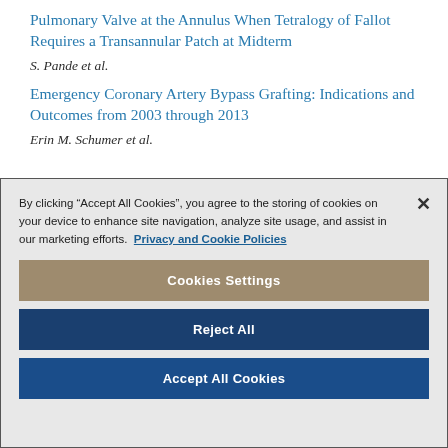Pulmonary Valve at the Annulus When Tetralogy of Fallot Requires a Transannular Patch at Midterm
S. Pande et al.
Emergency Coronary Artery Bypass Grafting: Indications and Outcomes from 2003 through 2013
Erin M. Schumer et al.
By clicking “Accept All Cookies”, you agree to the storing of cookies on your device to enhance site navigation, analyze site usage, and assist in our marketing efforts. Privacy and Cookie Policies
Cookies Settings
Reject All
Accept All Cookies